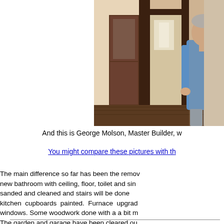[Figure (photo): Photograph of George Molson, Master Builder, standing in a hallway with dark wood trim and a door/wardrobe visible. Person wearing blue shirt.]
And this is George Molson, Master Builder, w
You might compare these pictures with th
The main difference so far has been the remov... new bathroom with ceiling, floor, toilet and sin... sanded and cleaned and stairs will be done ... kitchen cupboards painted. Furnace upgrad... windows. Some woodwork done with a a bit m... The garden and garage have been cleared ou... been cleaned in preparation for painting with s... we're getting there. I do need to arrange the... homely when I get my stuff over from Scotland ...